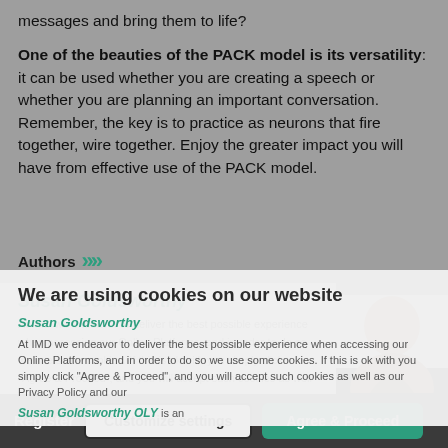messages and bring them to life?
One of the beauties of the PACK model is its versatility: it can be used whether you are creating a speech or whether you are planning an important conversation. Remember, the key is to practice as neurons that fire together, wire together. Enjoy the greater impact you will have from effective use of the PACK model.
Authors »»
We are using cookies on our website
Susan Goldsworthy
At IMD we endeavor to deliver the best possible experience when accessing our Online Platforms, and in order to do so we use some cookies. If this is ok with you simply click "Agree & Proceed", and you will accept such cookies as well as our Privacy Policy and our
Susan Goldsworthy OLY is an
You have 4 of 5 articles left to read.
Register  Customize settings  Agree & Proceed